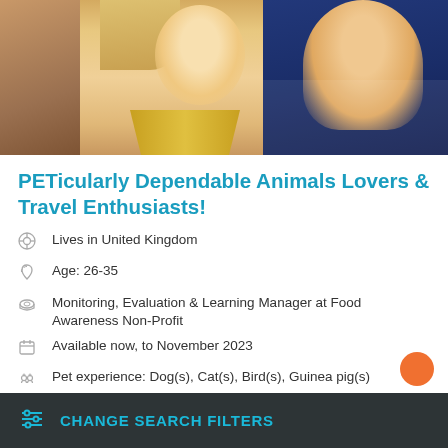[Figure (photo): Two smiling women, one with blonde hair (center) and one with dark hair (right), posed closely together. Photo is cropped to show faces and upper body.]
PETicularly Dependable Animals Lovers & Travel Enthusiasts!
Lives in United Kingdom
Age: 26-35
Monitoring, Evaluation & Learning Manager at Food Awareness Non-Profit
Available now, to November 2023
Pet experience: Dog(s), Cat(s), Bird(s), Guinea pig(s)
Referees/References: yes
CHANGE SEARCH FILTERS